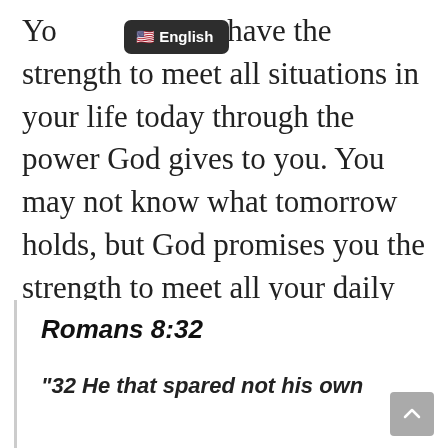[Figure (screenshot): Dark tooltip/badge showing a US flag emoji and the word 'English' in white text on a dark rounded rectangle background]
Yo[u have the strength to meet all situations in your life today through the power God gives to you. You may not know what tomorrow holds, but God promises you the strength to meet all your daily challenges.
Romans 8:32
“32 He that spared not his own